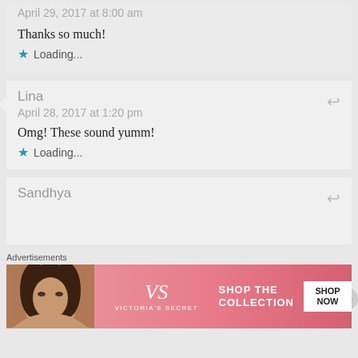April 29, 2017 at 8:00 am
Thanks so much!
Loading...
Lina
April 28, 2017 at 1:20 pm
Omg! These sound yumm!
Loading...
Sandhya
Advertisements
[Figure (other): Victoria's Secret advertisement banner with model, VS logo, and 'SHOP THE COLLECTION / SHOP NOW' call to action]